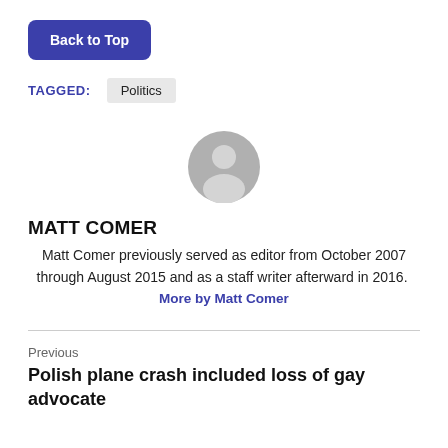Back to Top
TAGGED: Politics
[Figure (illustration): Generic grey user avatar icon showing a person silhouette]
MATT COMER
Matt Comer previously served as editor from October 2007 through August 2015 and as a staff writer afterward in 2016. More by Matt Comer
Previous
Polish plane crash included loss of gay advocate